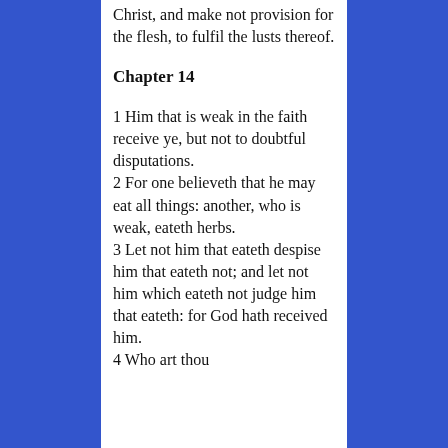Christ, and make not provision for the flesh, to fulfil the lusts thereof.
Chapter 14
1 Him that is weak in the faith receive ye, but not to doubtful disputations. 2 For one believeth that he may eat all things: another, who is weak, eateth herbs. 3 Let not him that eateth despise him that eateth not; and let not him which eateth not judge him that eateth: for God hath received him. 4 Who art thou